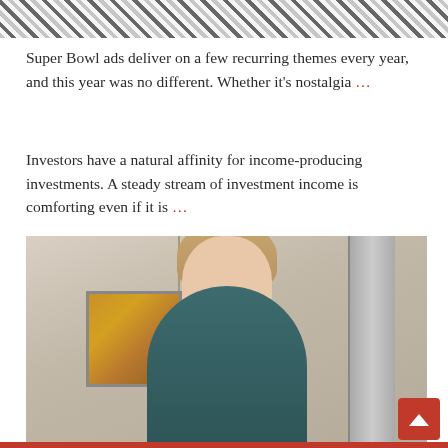[Figure (photo): Partial top crop of a black and white patterned image (appears to be a decorative textile or cookie design with geometric patterns)]
Super Bowl ads deliver on a few recurring themes every year, and this year was no different. Whether it's nostalgia …
Investors have a natural affinity for income-producing investments. A steady stream of investment income is comforting even if it is …
[Figure (photo): Professional portrait photo of a smiling young woman with long blonde hair wearing a teal/dark green short-sleeve top, standing in an office or studio setting with a pendant light, colorful painting, and glass door visible in the background.]